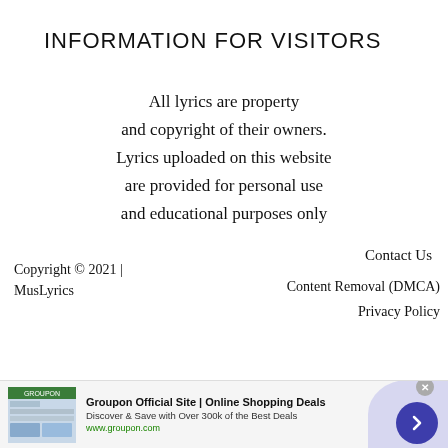INFORMATION FOR VISITORS
All lyrics are property and copyright of their owners. Lyrics uploaded on this website are provided for personal use and educational purposes only
Contact Us
Content Removal (DMCA)
Privacy Policy
Copyright © 2021 | MusLyrics
[Figure (screenshot): Advertisement banner for Groupon Official Site | Online Shopping Deals. Shows website screenshot thumbnail, bold title, description 'Discover & Save with Over 300k of the Best Deals', URL www.groupon.com, close button, and arrow button.]